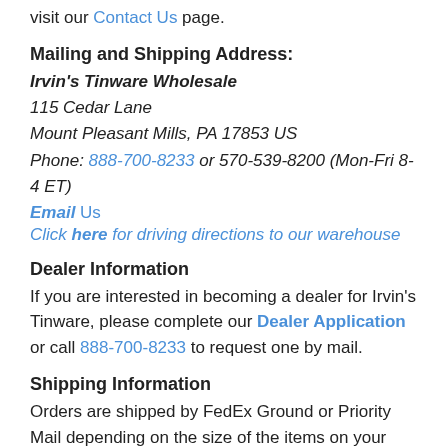visit our Contact Us page.
Mailing and Shipping Address:
Irvin's Tinware Wholesale
115 Cedar Lane
Mount Pleasant Mills, PA 17853 US
Phone: 888-700-8233 or 570-539-8200 (Mon-Fri 8-4 ET)
Email Us
Click here for driving directions to our warehouse
Dealer Information
If you are interested in becoming a dealer for Irvin's Tinware, please complete our Dealer Application or call 888-700-8233 to request one by mail.
Shipping Information
Orders are shipped by FedEx Ground or Priority Mail depending on the size of the items on your order.
Damaged Shipments